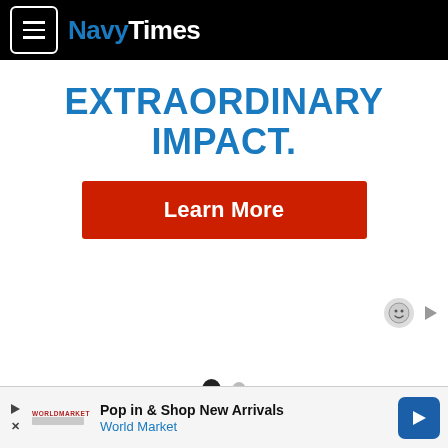NavyTimes
EXTRAORDINARY IMPACT.
Learn More
[Figure (other): Carousel navigation dots: one filled black dot and one grey dot indicating a two-slide carousel]
[Figure (other): Ad overlay icons: a smiley face circle icon and a play triangle icon in the top-right area]
Pop in & Shop New Arrivals — World Market